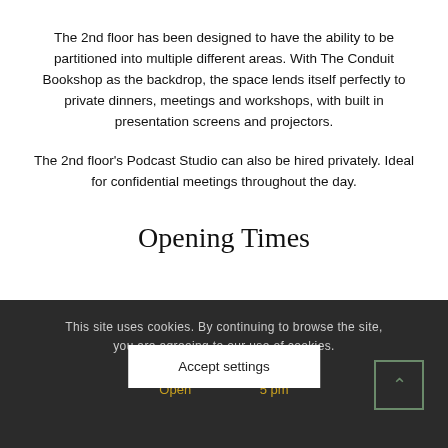The 2nd floor has been designed to have the ability to be partitioned into multiple different areas. With The Conduit Bookshop as the backdrop, the space lends itself perfectly to private dinners, meetings and workshops, with built in presentation screens and projectors.
The 2nd floor's Podcast Studio can also be hired privately. Ideal for confidential meetings throughout the day.
Opening Times
This site uses cookies. By continuing to browse the site, you are agreeing to our use of cookies.
Monday - Friday
Open ... 5 pm